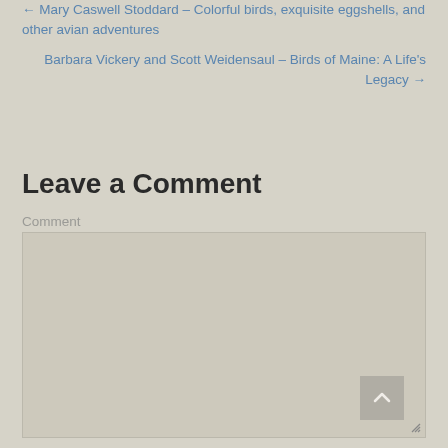← Mary Caswell Stoddard – Colorful birds, exquisite eggshells, and other avian adventures
Barbara Vickery and Scott Weidensaul – Birds of Maine: A Life's Legacy →
Leave a Comment
Comment
[Figure (other): Comment text input area (empty textarea) with resize handle at bottom right, and a back-to-top button (chevron up arrow) at bottom right corner]